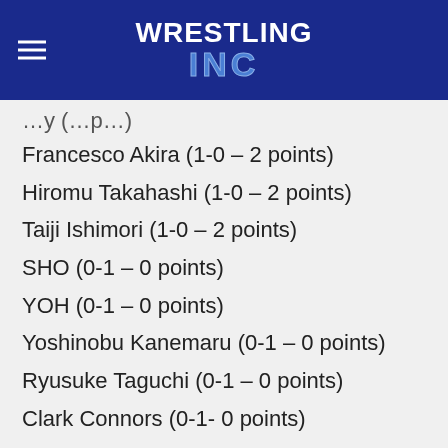Wrestling Inc
Francesco Akira (1-0 – 2 points)
Hiromu Takahashi (1-0 – 2 points)
Taiji Ishimori (1-0 – 2 points)
SHO (0-1 – 0 points)
YOH (0-1 – 0 points)
Yoshinobu Kanemaru (0-1 – 0 points)
Ryusuke Taguchi (0-1 – 0 points)
Clark Connors (0-1- 0 points)
B Block
DOUKI (1-0 – 2 points)
Robbie Eagles (1-0 – 2 points)